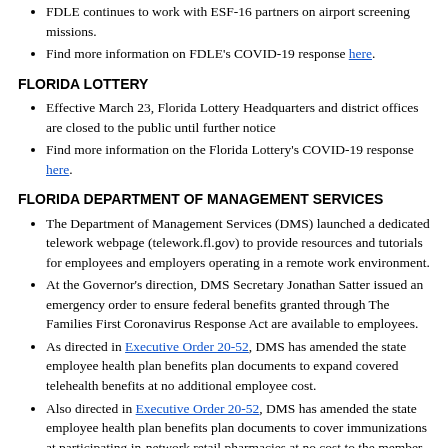FDLE continues to work with ESF-16 partners on airport screening missions.
Find more information on FDLE's COVID-19 response here.
FLORIDA LOTTERY
Effective March 23, Florida Lottery Headquarters and district offices are closed to the public until further notice
Find more information on the Florida Lottery's COVID-19 response here.
FLORIDA DEPARTMENT OF MANAGEMENT SERVICES
The Department of Management Services (DMS) launched a dedicated telework webpage (telework.fl.gov) to provide resources and tutorials for employees and employers operating in a remote work environment.
At the Governor's direction, DMS Secretary Jonathan Satter issued an emergency order to ensure federal benefits granted through The Families First Coronavirus Response Act are available to employees.
As directed in Executive Order 20-52, DMS has amended the state employee health plan benefits plan documents to expand covered telehealth benefits at no additional employee cost.
Also directed in Executive Order 20-52, DMS has amended the state employee health plan benefits plan documents to cover immunizations at participating in-network retail pharmacies at no cost to the member during this public health emergency.
Find more information on DMS' COVID-19 response here